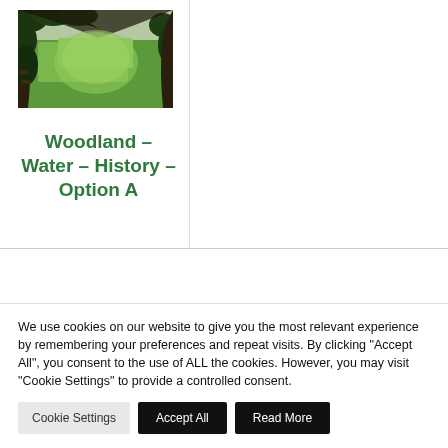[Figure (photo): View through a stone arch or cave opening with foliage, looking out onto a green field landscape]
Woodland – Water – History – Option A
We use cookies on our website to give you the most relevant experience by remembering your preferences and repeat visits. By clicking "Accept All", you consent to the use of ALL the cookies. However, you may visit "Cookie Settings" to provide a controlled consent.
Cookie Settings | Accept All | Read More